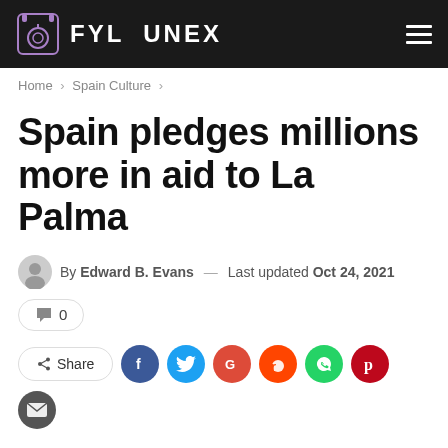FYL UNEX
Home > Spain Culture >
Spain pledges millions more in aid to La Palma
By Edward B. Evans — Last updated Oct 24, 2021
0
Share
Credit: Involcan